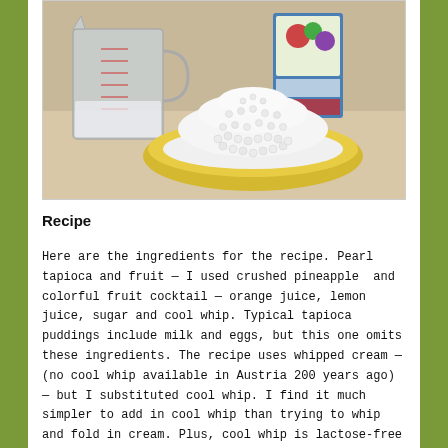[Figure (photo): Photo of pearl tapioca ingredients: a glass measuring cup, a yellow plate piled with small white pearl tapioca beads, and a colorful fruit cocktail box in the background on a kitchen counter.]
Recipe
Here are the ingredients for the recipe. Pearl tapioca and fruit — I used crushed pineapple  and colorful fruit cocktail — orange juice, lemon juice, sugar and cool whip. Typical tapioca puddings include milk and eggs, but this one omits these ingredients. The recipe uses whipped cream — (no cool whip available in Austria 200 years ago) — but I substituted cool whip. I find it much simpler to add in cool whip than trying to whip and fold in cream. Plus, cool whip is lactose-free and lower in fat. So, the